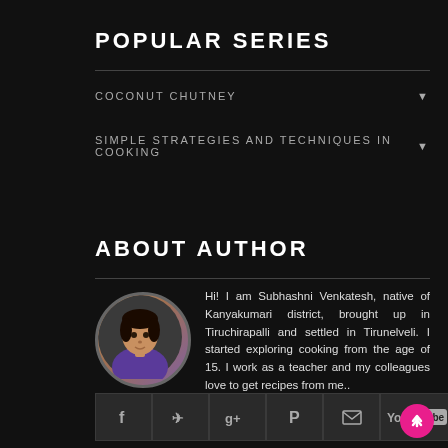POPULAR SERIES
COCONUT CHUTNEY ▼
SIMPLE STRATEGIES AND TECHNIQUES IN COOKING ▼
ABOUT AUTHOR
Hi! I am Subhashni Venkatesh, native of Kanyakumari district, brought up in Tiruchirapalli and settled in Tirunelveli. I started exploring cooking from the age of 15. I work as a teacher and my colleagues love to get recipes from me.. More »
[Figure (other): Social media icons bar: Facebook, Twitter, Google+, Pinterest, Email, YouTube]
[Figure (other): Back to top button - pink circle with upward arrow]